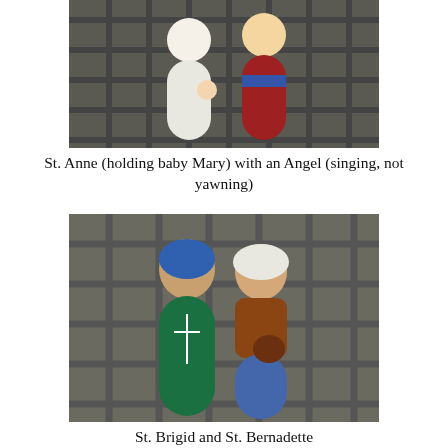[Figure (photo): Two painted wooden peg dolls on a metal lattice surface. One doll is white/unpainted holding a small figure, the other is dressed in red with blue sash — St. Anne holding baby Mary with an Angel.]
St. Anne (holding baby Mary) with an Angel (singing, not yawning)
[Figure (photo): Two painted wooden peg dolls on a metal lattice outdoor table. Left doll has blue hair and green robe with cross detail — St. Brigid. Right doll wears white headcovering and brown/blue clothing — St. Bernadette.]
St. Brigid and St. Bernadette
[Figure (photo): Partial photo of additional painted wooden peg dolls on metal lattice surface, cropped at bottom of page.]